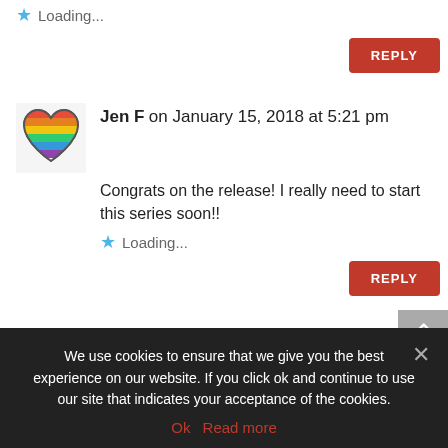Loading...
[Figure (other): Reply button (red)]
[Figure (illustration): Heart avatar icon for Jen F]
Jen F on January 15, 2018 at 5:21 pm
Congrats on the release!  I really need to start this series soon!!
Loading...
[Figure (other): Reply button (red)]
[Figure (photo): Avatar photo for Paul Wilgus (appears to show pandas)]
Paul Wilgus on January 15, 2018 at 5:51 pm
We use cookies to ensure that we give you the best experience on our website. If you click ok and continue to use our site that indicates your acceptance of the cookies.
Ok  Read more